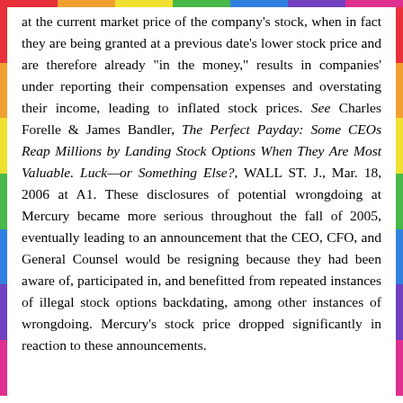at the current market price of the company's stock, when in fact they are being granted at a previous date's lower stock price and are therefore already "in the money," results in companies' under reporting their compensation expenses and overstating their income, leading to inflated stock prices. See Charles Forelle & James Bandler, The Perfect Payday: Some CEOs Reap Millions by Landing Stock Options When They Are Most Valuable. Luck—or Something Else?, WALL ST. J., Mar. 18, 2006 at A1. These disclosures of potential wrongdoing at Mercury became more serious throughout the fall of 2005, eventually leading to an announcement that the CEO, CFO, and General Counsel would be resigning because they had been aware of, participated in, and benefitted from repeated instances of illegal stock options backdating, among other instances of wrongdoing. Mercury's stock price dropped significantly in reaction to these announcements.